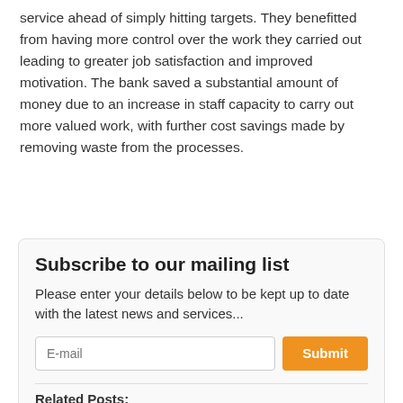service ahead of simply hitting targets. They benefitted from having more control over the work they carried out leading to greater job satisfaction and improved motivation. The bank saved a substantial amount of money due to an increase in staff capacity to carry out more valued work, with further cost savings made by removing waste from the processes.
Subscribe to our mailing list
Please enter your details below to be kept up to date with the latest news and services...
Related Posts: